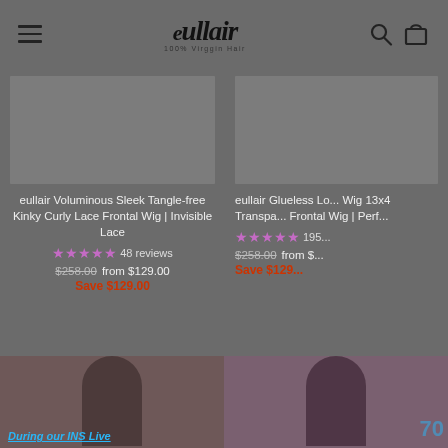eullair - 100% Virgin Hair
eullair Voluminous Sleek Tangle-free Kinky Curly Lace Frontal Wig | Invisible Lace  ★★★★★ 48 reviews  $258.00 from $129.00  Save $129.00
eullair Glueless Lo... Wig 13x4 Transpa... Frontal Wig | Perf...  ★★★★★ 195...  $258.00 from $...  Save $129...
[Figure (screenshot): Two people wearing wigs shown in a social media live stream screenshot with text 'During our INS Live']